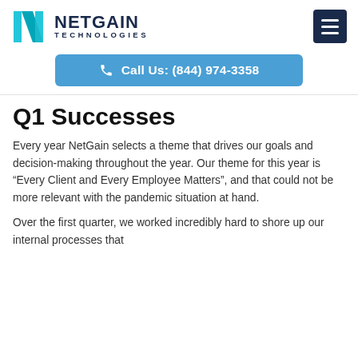[Figure (logo): NetGain Technologies logo with cyan/teal N icon and dark navy text]
Call Us: (844) 974-3358
Q1 Successes
Every year NetGain selects a theme that drives our goals and decision-making throughout the year. Our theme for this year is “Every Client and Every Employee Matters”, and that could not be more relevant with the pandemic situation at hand.
Over the first quarter, we worked incredibly hard to shore up our internal processes that